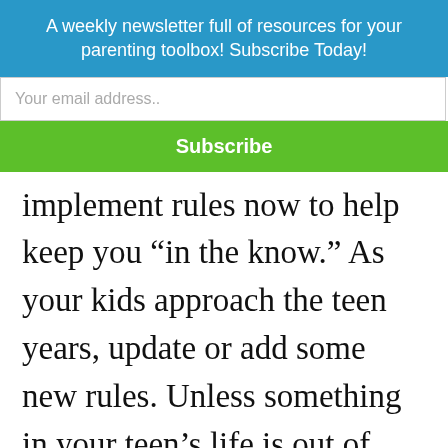A weekly newsletter full of resources for your parenting toolbox! Subscribe Today!
Your email address..
Subscribe
implement rules now to help keep you “in the know.” As your kids approach the teen years, update or add some new rules. Unless something in your teen’s life is out of control or there has been a recent change in the behavior, mood, or school grades, then a parent should